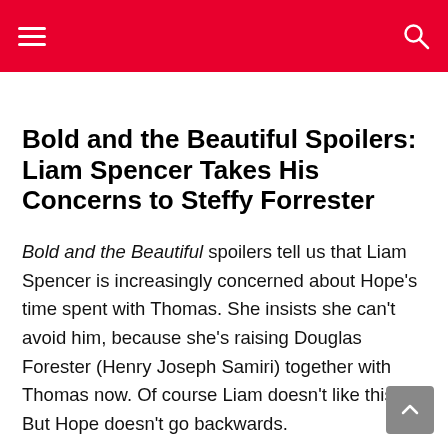Bold and the Beautiful Spoilers: Liam Spencer Takes His Concerns to Steffy Forrester
Bold and the Beautiful spoilers tell us that Liam Spencer is increasingly concerned about Hope's time spent with Thomas. She insists she can't avoid him, because she's raising Douglas Forester (Henry Joseph Samiri) together with Thomas now. Of course Liam doesn't like this. But Hope doesn't go backwards.